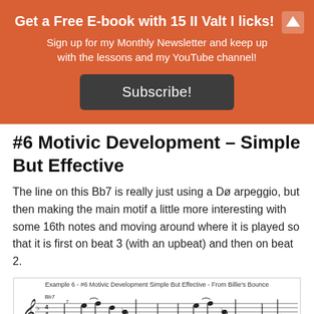Get a Free E-book with 15 II Valt I licks!
Sign up for my Monthly Newsletter and keep up with the lessons and my YouTube channel!
Subscribe!
#6 Motivic Development – Simple But Effective
The line on this Bb7 is really just using a Dø arpeggio, but then making the main motif a little more interesting with some 16th notes and moving around where it is played so that it is first on beat 3 (with an upbeat) and then on beat 2.
[Figure (illustration): Music notation example titled 'Example 6 - #6 Motivic Development Simple But Effective - From Billie's Bounce' showing a Bb7 chord with musical staff notation and tablature (TAB) notation below.]